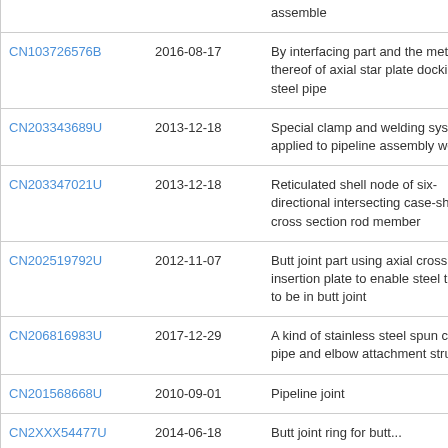| Patent Number | Date | Description |
| --- | --- | --- |
|  |  | assemble |
| CN103726576B | 2016-08-17 | By interfacing part and the method thereof of axial star plate docking steel pipe |
| CN203343689U | 2013-12-18 | Special clamp and welding system applied to pipeline assembly welding |
| CN203347021U | 2013-12-18 | Reticulated shell node of six-directional intersecting case-shaped cross section rod member |
| CN202519792U | 2012-11-07 | Butt joint part using axial cross insertion plate to enable steel tubes to be in butt joint |
| CN206816983U | 2017-12-29 | A kind of stainless steel spun cast pipe and elbow attachment structure |
| CN201568668U | 2010-09-01 | Pipeline joint |
| CN2XXX54477U | 2014-06-18 | Butt joint ring for butt... |